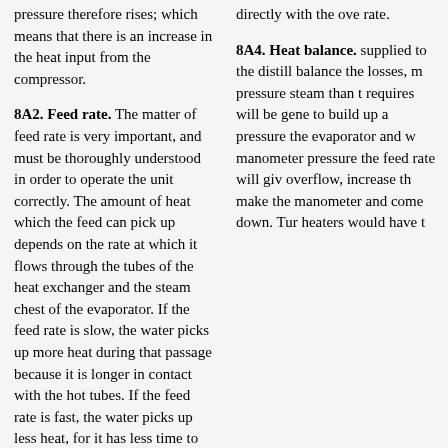pressure therefore rises; which means that there is an increase in the heat input from the compressor.
directly with the ove rate.
8A2. Feed rate. The matter of feed rate is very important, and must be thoroughly understood in order to operate the unit correctly. The amount of heat which the feed can pick up depends on the rate at which it flows through the tubes of the heat exchanger and the steam chest of the evaporator. If the feed rate is slow, the water picks up more heat during that passage because it is longer in contact with the hot tubes. If the feed rate is fast, the water picks up less heat, for it has less time to do so.
8A4. Heat balance. supplied to the distill balance the losses, m pressure steam than t requires will be gene to build up a pressure the evaporator and w manometer pressure the feed rate will giv overflow, increase th make the manometer and come down. Tur heaters would have t
(46)
same effect in balancing the heat input against the losses.
rarely any sudden or pressure variations.
NOTE. In this discussion...
With the advent of...